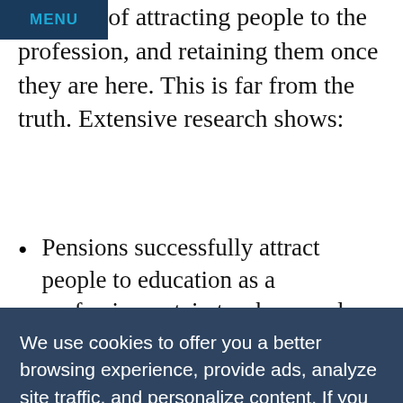MENU
problem of attracting people to the profession, and retaining them once they are here. This is far from the truth. Extensive research shows:
Pensions successfully attract people to education as a profession, retain teachers, and provide solid retirement security.
A shift to defined-contribution plans would
We use cookies to offer you a better browsing experience, provide ads, analyze site traffic, and personalize content. If you continue to use this site, you consent to our use of cookies.
ACCEPT & CLOSE